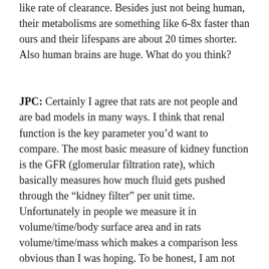like rate of clearance. Besides just not being human, their metabolisms are something like 6-8x faster than ours and their lifespans are about 20 times shorter. Also human brains are huge. What do you think?
JPC: Certainly I agree that rats are not people and are bad models in many ways. I think that renal function is the key parameter you’d want to compare. The most basic measure of kidney function is the GFR (glomerular filtration rate), which basically measures how much fluid gets pushed through the “kidney filter” per unit time. Unfortunately in people we measure it in volume/time/body surface area and in rats volume/time/mass which makes a comparison less obvious than I was hoping. To be honest, I am not sure how well rat kidney function and human kidney function is comparable. (Definitely more comparable than live and dead human kidney function, though 😶.)
What do you mean by “their metabolisms are